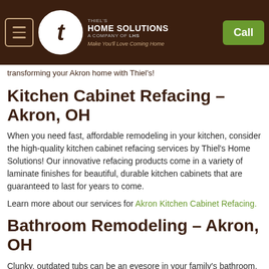Thiel's Home Solutions – A Company of LHS – Call
transforming your Akron home with Thiel's!
Kitchen Cabinet Refacing – Akron, OH
When you need fast, affordable remodeling in your kitchen, consider the high-quality kitchen cabinet refacing services by Thiel's Home Solutions! Our innovative refacing products come in a variety of laminate finishes for beautiful, durable kitchen cabinets that are guaranteed to last for years to come.
Learn more about our services for Akron Kitchen Cabinet Refacing.
Bathroom Remodeling – Akron, OH
Clunky, outdated tubs can be an eyesore in your family's bathroom, and Thiel's makes it easier than ever to convert your old bathtub